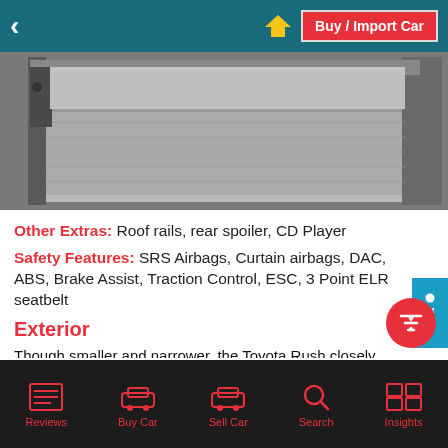Buy / Import Car
[Figure (photo): Photo of a car trunk/boot open showing the cargo area interior with grey carpet lining]
Other Extras: Roof rails, rear spoiler, CD Player
Safety Features: SRS Airbags, Curtain airbags, DAC, ABS, Brake Assist, Traction Control, ESC, 3 Point ELR seatbelt
Exterior
Though smaller and narrower, the Toyota Rush closely resembles the Toyota Rav4 in body construction and styling. The exterior mounted spare wheel is both aesthetically appealing and functional. The optional roof rails and alloy add a touch of class to the otherwise normal exterior.
Reviews | Buy Car | Sell Car | Search | Insights